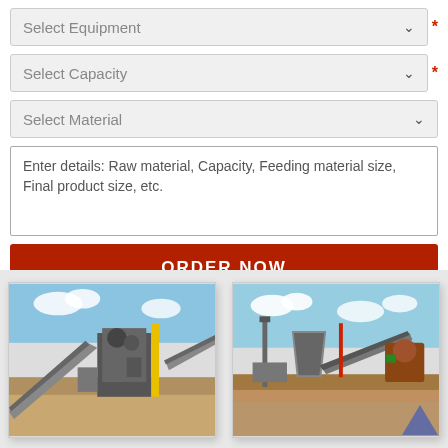Select Equipment
Select Capacity
Select Material
Enter details: Raw material, Capacity, Feeding material size, Final product size, etc.
ORDER NOW
[Figure (photo): Industrial crushing/screening plant equipment with conveyor belts, machinery structures, and yellow crane against blue sky and sandy ground]
[Figure (photo): Industrial mineral processing equipment with crusher, conveyor belts, and heavy machinery on sandy terrain against blue sky]